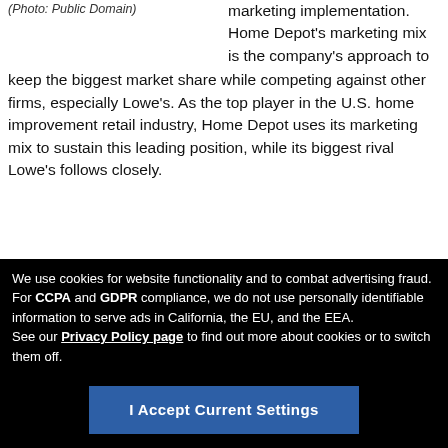(Photo: Public Domain)
marketing implementation. Home Depot's marketing mix is the company's approach to keep the biggest market share while competing against other firms, especially Lowe's. As the top player in the U.S. home improvement retail industry, Home Depot uses its marketing mix to sustain this leading position, while its biggest rival Lowe's follows closely.
[Figure (photo): Gray placeholder image box]
We use cookies for website functionality and to combat advertising fraud. For CCPA and GDPR compliance, we do not use personally identifiable information to serve ads in California, the EU, and the EEA. See our Privacy Policy page to find out more about cookies or to switch them off.
I Accept Current Settings